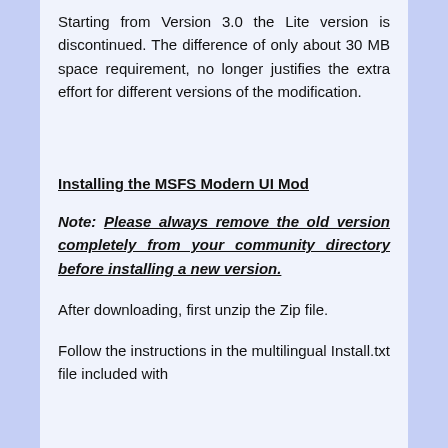Starting from Version 3.0 the Lite version is discontinued. The difference of only about 30 MB space requirement, no longer justifies the extra effort for different versions of the modification.
Installing the MSFS Modern UI Mod
Note: Please always remove the old version completely from your community directory before installing a new version.
After downloading, first unzip the Zip file.
Follow the instructions in the multilingual Install.txt file included with